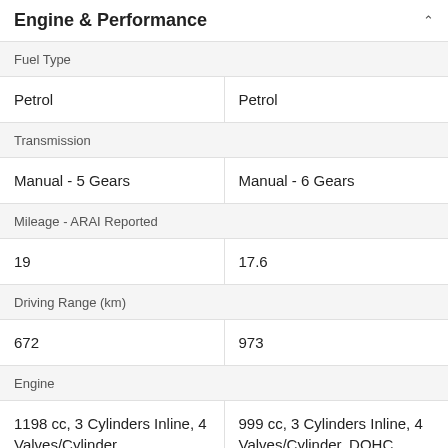Engine & Performance
|  | Col1 | Col2 |
| --- | --- | --- |
| Fuel Type |  |  |
|  | Petrol | Petrol |
| Transmission |  |  |
|  | Manual - 5 Gears | Manual - 6 Gears |
| Mileage - ARAI Reported |  |  |
|  | 19 | 17.6 |
| Driving Range (km) |  |  |
|  | 672 | 973 |
| Engine |  |  |
|  | 1198 cc, 3 Cylinders Inline, 4 Valves/Cylinder, | 999 cc, 3 Cylinders Inline, 4 Valves/Cylinder, DOHC |